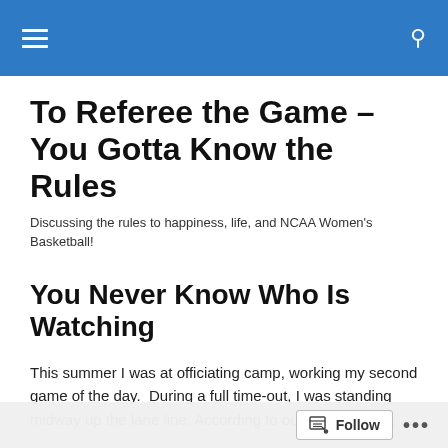To Referee the Game – You Gotta Know the Rules
Discussing the rules to happiness, life, and NCAA Women's Basketball!
You Never Know Who Is Watching
This summer I was at officiating camp, working my second game of the day.  During a full time-out, I was standing midway up the lane line. According to our CCA Manual,
Follow